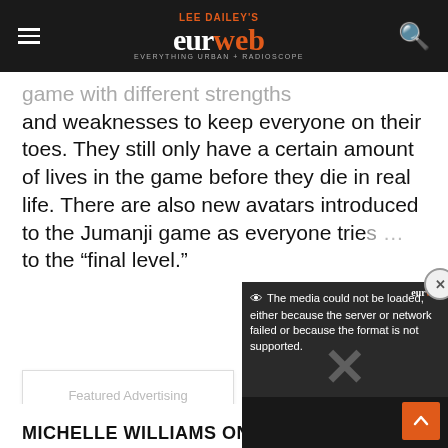LEE DAILEY'S eurweb | EVERYTHING URBAN + RADIOSCOPE
game with different strengths and weaknesses to keep everyone on their toes. They still only have a certain amount of lives in the game before they die in real life. There are also new avatars introduced to the Jumanji game as everyone tries to get to the “final level.”
[Figure (other): Embedded video player overlay showing error message: 'The media could not be loaded either because the server or network failed or because the format is not supported.']
Featured Advertising
MICHELLE WILLIAMS ON HOW DESTINY'S